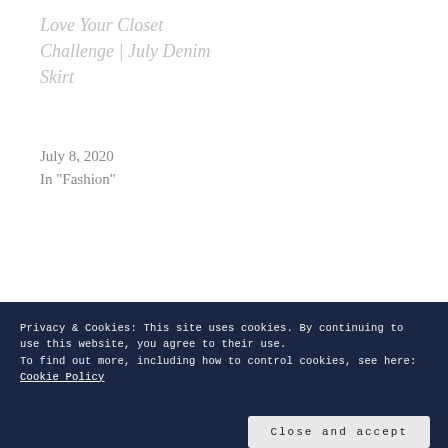Love Your Closet Challenge | July Denim Skirt
July 8, 2020
In "Fashion"
NEWSLETTER SIGNUP
E-MAIL ADDRESS
Privacy & Cookies: This site uses cookies. By continuing to use this website, you agree to their use.
To find out more, including how to control cookies, see here:
Cookie Policy
Close and accept
Cancelled »